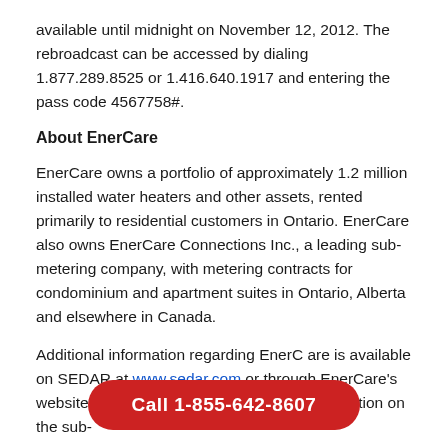available until midnight on November 12, 2012. The rebroadcast can be accessed by dialing 1.877.289.8525 or 1.416.640.1917 and entering the pass code 4567758#.
About EnerCare
EnerCare owns a portfolio of approximately 1.2 million installed water heaters and other assets, rented primarily to residential customers in Ontario. EnerCare also owns EnerCare Connections Inc., a leading sub-metering company, with metering contracts for condominium and apartment suites in Ontario, Alberta and elsewhere in Canada.
Additional information regarding EnerCare is available on SEDAR at www.sedar.com or through EnerCare's website at http://investors.enercare.ca. Information on the sub-
Call 1-855-642-8607